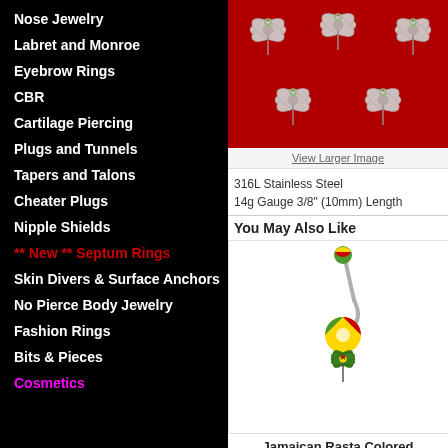Nose Jewelry
Labret and Monroe
Eyebrow Rings
CBR
Cartilage Piercing
Plugs and Tunnels
Tapers and Talons
Cheater Plugs
Nipple Shields
** New ** Septum Rings
Skin Divers & Surface Anchors
No Pierce Body Jewelry
Fashion Rings
Bits & Pieces
Cosmetics
[Figure (photo): Silver marijuana leaf charms on red background]
View Larger Image
316L Stainless Steel
14g Gauge 3/8" (10mm) Length
You May Also Like
[Figure (photo): Jamaican Rasta colored marijuana pot leaf dangle belly ring]
Jamaican Rasta Colored Marijuana Pot Leaf Dangle